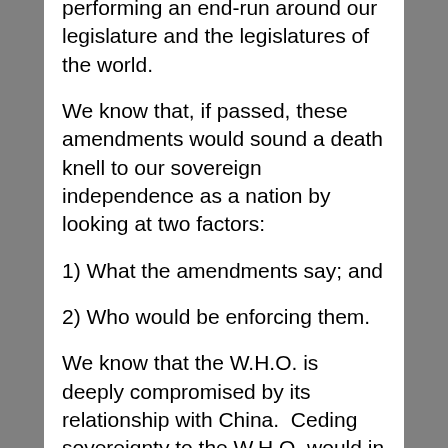performing an end-run around our legislature and the legislatures of the world.
We know that, if passed, these amendments would sound a death knell to our sovereign independence as a nation by looking at two factors:
1) What the amendments say; and
2) Who would be enforcing them.
We know that the W.H.O. is deeply compromised by its relationship with China. Ceding sovereignty to the W.H.O. would in effect be ceding sovereignty to the Chinese Communist Party.
I would like to take a quick look at what the actual amendments themselves